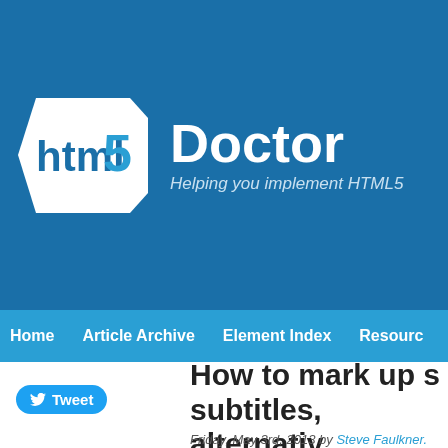html5 Doctor — Helping you implement HTML5
Home   Article Archive   Element Index   Resource
How to mark up subtitles, alternatives, taglines
Friday, May 3rd, 2013 by Steve Faulkner.
CATEGORY
Elements
If you don't already know, the hgr HTML5...